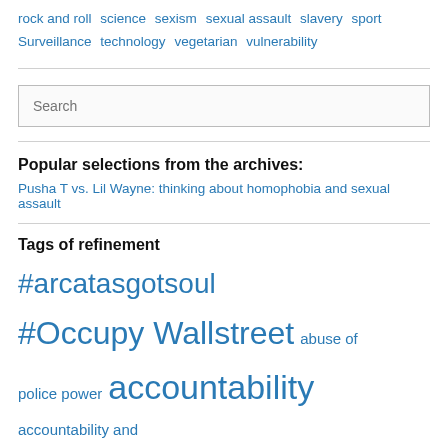rock and roll  science  sexism  sexual assault  slavery  sport  Surveillance  technology  vegetarian  vulnerability
[Figure (screenshot): Search input box with placeholder text 'Search']
Popular selections from the archives:
Pusha T vs. Lil Wayne: thinking about homophobia and sexual assault
Tags of refinement
#arcatasgotsoul  #Occupy Wallstreet  abuse of police power  accountability  accountability and